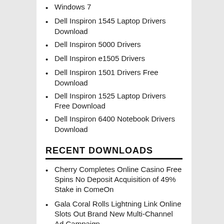Windows 7
Dell Inspiron 1545 Laptop Drivers Download
Dell Inspiron 5000 Drivers
Dell Inspiron e1505 Drivers
Dell Inspiron 1501 Drivers Free Download
Dell Inspiron 1525 Laptop Drivers Free Download
Dell Inspiron 6400 Notebook Drivers Download
RECENT DOWNLOADS
Cherry Completes Online Casino Free Spins No Deposit Acquisition of 49% Stake in ComeOn
Gala Coral Rolls Lightning Link Online Slots Out Brand New Multi-Channel Ad Campaign
5 Best Cities to meet up with the honest and breathtaking girl in Ukraine
New Questions About Provacan Cbd Oil Answered and Why You Must Read Every Word of This Report